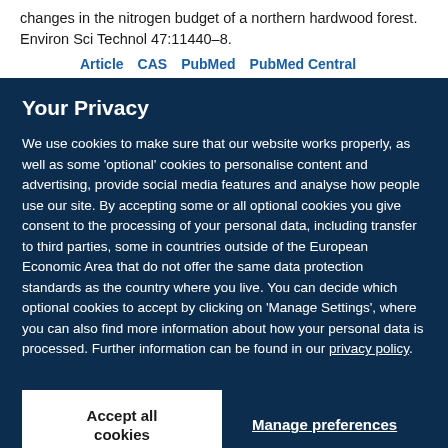changes in the nitrogen budget of a northern hardwood forest. Environ Sci Technol 47:11440–8.
Article   CAS   PubMed   PubMed Central
Your Privacy
We use cookies to make sure that our website works properly, as well as some 'optional' cookies to personalise content and advertising, provide social media features and analyse how people use our site. By accepting some or all optional cookies you give consent to the processing of your personal data, including transfer to third parties, some in countries outside of the European Economic Area that do not offer the same data protection standards as the country where you live. You can decide which optional cookies to accept by clicking on 'Manage Settings', where you can also find more information about how your personal data is processed. Further information can be found in our privacy policy.
Accept all cookies
Manage preferences